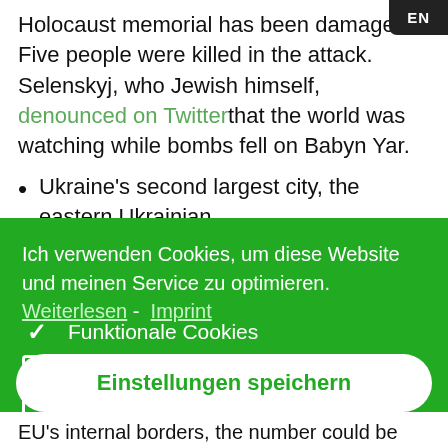Holocaust memorial has been damaged. Five people were killed in the attack. Selenskyj, who Jewish himself, denounced on Twitter that the world was watching while bombs fell on Babyn Yar.
Ukraine's second largest city, the eastern Ukrainian
Ich verwenden Cookies, um diese Website und meinen Service zu optimieren. Weiterlesen - Imprint
✓ Funktionale Cookies
☐ Statistiken
☐ Marketing
Einstellungen speichern
EU's internal borders, the number could be higher.